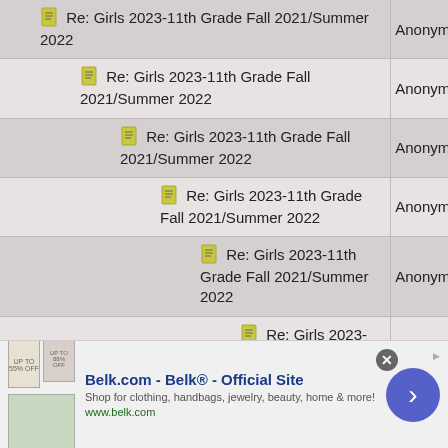Re: Girls 2023-11th Grade Fall 2021/Summer 2022 — Anonymous
Re: Girls 2023-11th Grade Fall 2021/Summer 2022 — Anonymous
Re: Girls 2023-11th Grade Fall 2021/Summer 2022 — Anonymous
Re: Girls 2023-11th Grade Fall 2021/Summer 2022 — Anonymous
Re: Girls 2023-11th Grade Fall 2021/Summer 2022 — Anonymous
Re: Girls 2023-11th Grade Fall 2021/Summer 2022 — Anonymous
Re: Girls 2023-11th Grade Fall 2021/Summer 2022 — Anonymous
Re: Girls 2023-11th Grade Fall 2021/Summer 2022 — Anonymous
[Figure (screenshot): Belk.com advertisement banner: 'Belk.com - Belk® - Official Site. Shop for clothing, handbags, jewelry, beauty, home & more! www.belk.com']